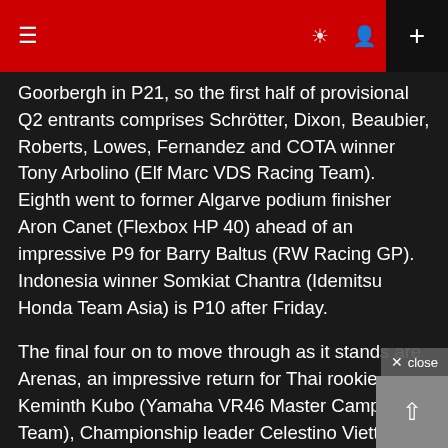Navigation header with menu, brightness, profile, and add button
Goorbergh in P21, so the first half of provisional Q2 entrants comprises Schrötter, Dixon, Beaubier, Roberts, Lowes, Fernandez and COTA winner Tony Arbolino (Elf Marc VDS Racing Team). Eighth went to former Algarve podium finisher Aron Canet (Flexbox HP 40) ahead of an impressive P9 for Barry Baltus (RW Racing GP). Indonesia winner Somkiat Chantra (Idemitsu Honda Team Asia) is P10 after Friday.
The final four on to move through as it stands are Arenas, an impressive return for Thai rookie Keminth Kubo (Yamaha VR46 Master Camp Team), Championship leader Celestino Vietti (Mooney VR46 Racing Team) and Zaccone… will that remain true